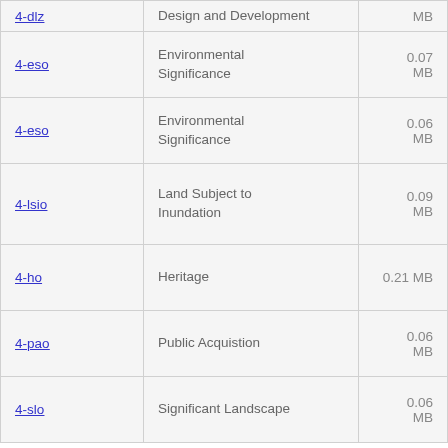| Link | Description | Size |
| --- | --- | --- |
| 4-dlz | Design and Development | MB |
| 4-eso | Environmental Significance | 0.07 MB |
| 4-eso | Environmental Significance | 0.06 MB |
| 4-lsio | Land Subject to Inundation | 0.09 MB |
| 4-ho | Heritage | 0.21 MB |
| 4-pao | Public Acquistion | 0.06 MB |
| 4-slo | Significant Landscape | 0.06 MB |